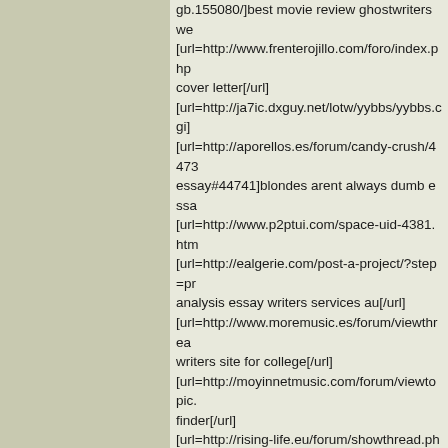gb.155080/]best movie review ghostwriters we[...] [url=http://www.frenterojillo.com/foro/index.php...cover letter[/url] [url=http://ja7ic.dxguy.net/lotw/yybbs/yybbs.cgi]...[url=http://aporellos.es/forum/candy-crush/4473...essay#44741]blondes arent always dumb essa... [url=http://www.p2ptui.com/space-uid-4381.htm... [url=http://ealgerie.com/post-a-project/?step=pr...analysis essay writers services au[/url] [url=http://www.moremusic.es/forum/viewthrea...writers site for college[/url] [url=http://moyinnetmusic.com/forum/viewtopic....finder[/url] [url=http://rising-life.eu/forum/showthread.php?...states history dbq essay[/url] [url=http://mymix.nl/muizenforum/viewtopic.php...f=4&t=142784&p=471887#p471887]argumenta... [url=http://smailqforum.clanfm.ru/viewtopic.php...topics in fitness[/url] [url=https://saomos.news/forum/messages/foru...result=reply#message311795]a walk in the cou... [url=http://uhohmom.com/forum/viewtopic.php?...us[/url] [url=http://bbs.iliferobot.cn/thread-1062520-1-1...